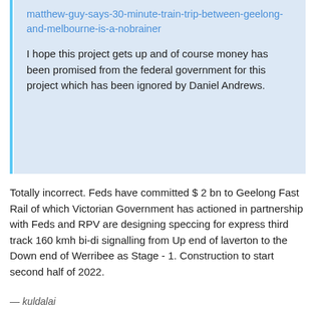matthew-guy-says-30-minute-train-trip-between-geelong-and-melbourne-is-a-nobrainer
I hope this project gets up and of course money has been promised from the federal government for this project which has been ignored by Daniel Andrews.
Totally incorrect. Feds have committed $ 2 bn to Geelong Fast Rail of which Victorian Government has actioned in partnership with Feds and RPV are designing speccing for express third track 160 kmh bi-di signalling from Up end of laverton to the Down end of Werribee as Stage - 1. Construction to start second half of 2022.
— kuldalai